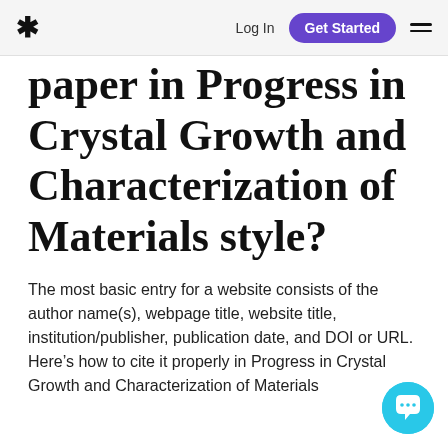Log In  Get Started
paper in Progress in Crystal Growth and Characterization of Materials style?
The most basic entry for a website consists of the author name(s), webpage title, website title, institution/publisher, publication date, and DOI or URL. Here’s how to cite it properly in Progress in Crystal Growth and Characterization of Materials